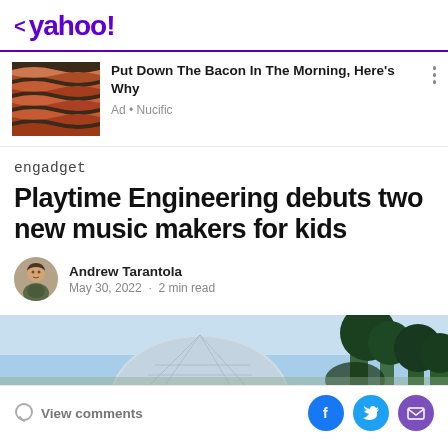< yahoo!
[Figure (screenshot): Advertisement card with bacon image and text: Put Down The Bacon In The Morning, Here's Why. Ad · Nucific]
engadget
Playtime Engineering debuts two new music makers for kids
Andrew Tarantola
May 30, 2022 · 2 min read
[Figure (photo): Outdoor scene with a dome-like structure and trees against a light blue sky]
View comments | Facebook | Twitter | Mail